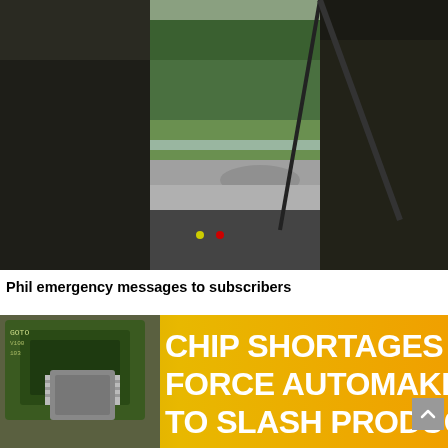[Figure (photo): View from inside a vehicle cab showing the road ahead through a wet windshield with wiper visible. A person's foot/boot is propped up on the dashboard. Outside shows a rural road with green grass and trees.]
Phil emergency messages to subscribers
[Figure (photo): News thumbnail image with orange/yellow background showing text 'CHIP SHORTAGES FORCE AUTOMAKERS TO SLASH PRODUCTION' in large bold white letters, with an image of a computer chip on the left side.]